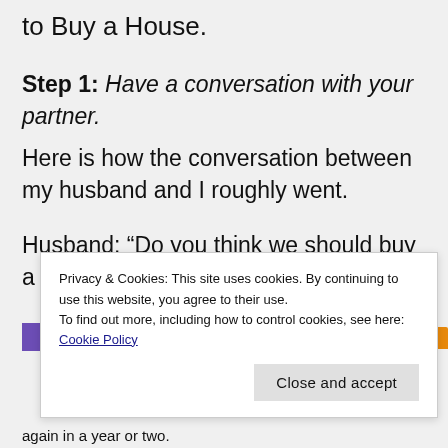to Buy a House.
Step 1: Have a conversation with your partner.
Here is how the conversation between my husband and I roughly went.
Husband: “Do you think we should buy a house?”
[Figure (other): Advertisements banner with colored bars (purple, teal, orange)]
Privacy & Cookies: This site uses cookies. By continuing to use this website, you agree to their use.
To find out more, including how to control cookies, see here: Cookie Policy
again in a year or two.